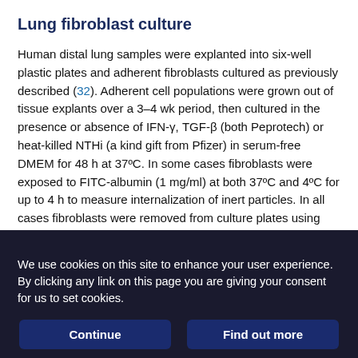Lung fibroblast culture
Human distal lung samples were explanted into six-well plastic plates and adherent fibroblasts cultured as previously described (32). Adherent cell populations were grown out of tissue explants over a 3–4 wk period, then cultured in the presence or absence of IFN-γ, TGF-β (both Peprotech) or heat-killed NTHi (a kind gift from Pfizer) in serum-free DMEM for 48 h at 37ºC. In some cases fibroblasts were exposed to FITC-albumin (1 mg/ml) at both 37ºC and 4ºC for up to 4 h to measure internalization of inert particles. In all cases fibroblasts were removed from culture plates using Accutase (eBioscience). FITC-albumin–exposed fibroblasts were treated with trypan blue (0.25 mg/ml) immediately prior to flow
We use cookies on this site to enhance your user experience. By clicking any link on this page you are giving your consent for us to set cookies.